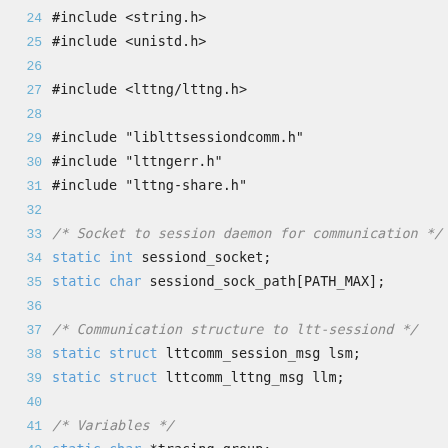[Figure (screenshot): Source code snippet in C showing lines 24-48, with includes, static variable declarations, and the beginning of a block comment. Language uses monospace font with blue line numbers and syntax highlighting for keywords and comments.]